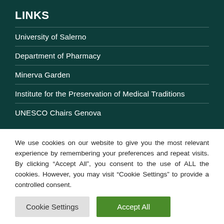LINKS
University of Salerno
Department of Pharmacy
Minerva Garden
Institute for the Preservation of Medical Traditions
UNESCO Chairs Genova
We use cookies on our website to give you the most relevant experience by remembering your preferences and repeat visits. By clicking “Accept All”, you consent to the use of ALL the cookies. However, you may visit “Cookie Settings” to provide a controlled consent.
Cookie Settings
Accept All